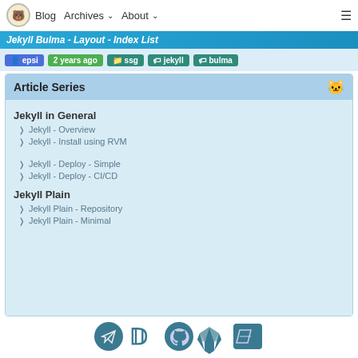Blog  Archives ▾  About ▾
Jekyll Bulma - Layout - Index List
epsi  2 years ago  ssg  jekyll  bulma
Article Series
Jekyll in General
Jekyll - Overview
Jekyll - Install using RVM
Jekyll - Deploy - Simple
Jekyll - Deploy - CI/CD
Jekyll Plain
Jekyll Plain - Repository
Jekyll Plain - Minimal
[Figure (illustration): Social media icon links: Telegram, DeviantArt, GitHub, GitLab, Bitbucket]